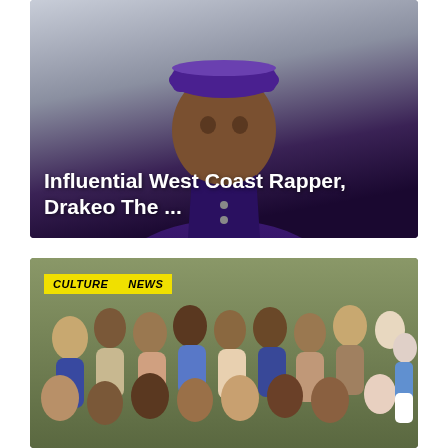[Figure (photo): Portrait photo of Drakeo The Ruler, a West Coast rapper wearing a purple varsity jacket and purple cap, looking directly at the camera against a light background. White text overlay reads 'Influential West Coast Rapper, Drakeo The ...']
Influential West Coast Rapper, Drakeo The ...
[Figure (photo): Group photo of a crowd of people sitting on grass at an outdoor event, likely a school or community gathering. Cheerleaders in blue uniforms visible on the right side. Yellow tag labels reading 'CULTURE' and 'NEWS' overlaid in top-left corner.]
CULTURE | NEWS